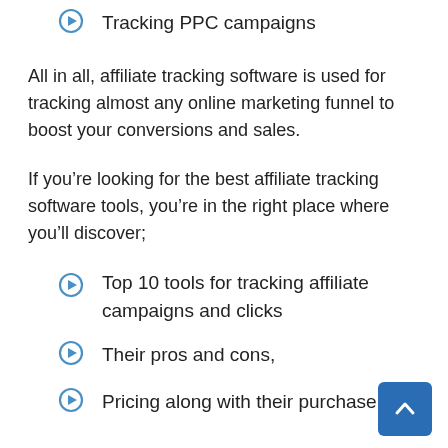Tracking PPC campaigns
All in all, affiliate tracking software is used for tracking almost any online marketing funnel to boost your conversions and sales.
If you’re looking for the best affiliate tracking software tools, you’re in the right place where you’ll discover;
Top 10 tools for tracking affiliate campaigns and clicks
Their pros and cons,
Pricing along with their purchase links